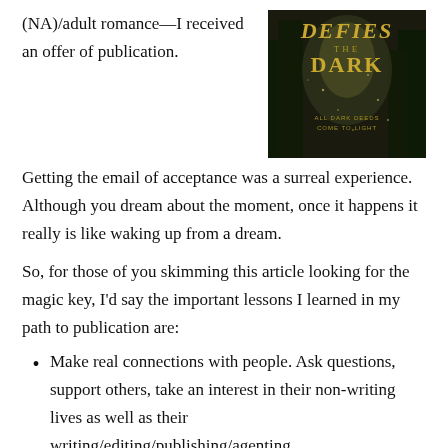(NA)/adult romance—I received an offer of publication.
[Figure (photo): Book cover for a novel titled 'Defies the Dark' with tagline 'All Dark Deeds Come to Light', showing a dark forest scene with golden text]
Getting the email of acceptance was a surreal experience. Although you dream about the moment, once it happens it really is like waking up from a dream.
So, for those of you skimming this article looking for the magic key, I'd say the important lessons I learned in my path to publication are:
Make real connections with people. Ask questions, support others, take an interest in their non-writing lives as well as their writing/editing/publishing/agenting.
Consider the advice/feedback you're given. You don't